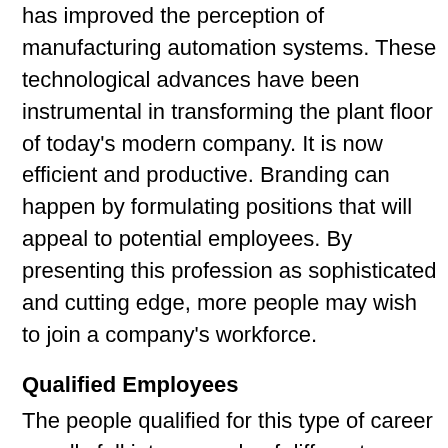has improved the perception of manufacturing automation systems. These technological advances have been instrumental in transforming the plant floor of today's modern company. It is now efficient and productive. Branding can happen by formulating positions that will appeal to potential employees. By presenting this profession as sophisticated and cutting edge, more people may wish to join a company's workforce.
Qualified Employees
The people qualified for this type of career usually fall into a couple of different categories. These people may have a military or technology-based background with a specialized education that provides the needed expertise. Aptitude testing can help employers identify potential workers who fit